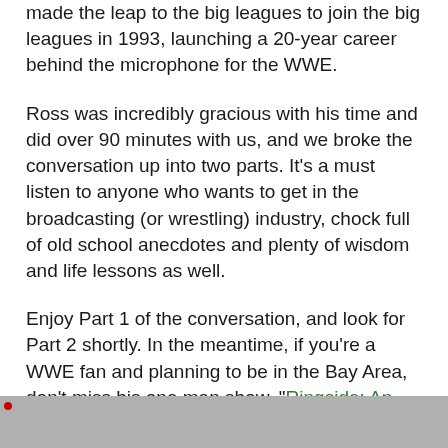made the leap to the big leagues to join the big leagues in 1993, launching a 20-year career behind the microphone for the WWE.
Ross was incredibly gracious with his time and did over 90 minutes with us, and we broke the conversation up into two parts. It’s a must listen to anyone who wants to get in the broadcasting (or wrestling) industry, chock full of old school anecdotes and plenty of wisdom and life lessons as well.
Enjoy Part 1 of the conversation, and look for Part 2 shortly. In the meantime, if you’re a WWE fan and planning to be in the Bay Area, don’t miss his one man show, “Ringside: An Afternoon with Jim Ross,” which happens on Saturday, March 28 at the Rock Bar Theatre in San Jose, CA. Tickets are just $20.
Part 1:
[Figure (other): Gray video player placeholder]